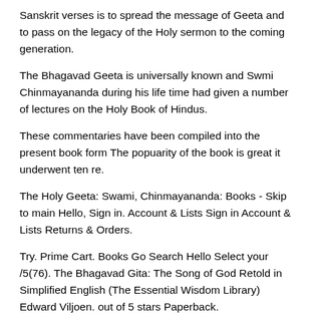Sanskrit verses is to spread the message of Geeta and to pass on the legacy of the Holy sermon to the coming generation.
The Bhagavad Geeta is universally known and Swmi Chinmayananda during his life time had given a number of lectures on the Holy Book of Hindus.
These commentaries have been compiled into the present book form The popuarity of the book is great it underwent ten re.
The Holy Geeta: Swami, Chinmayananda: Books - Skip to main Hello, Sign in. Account & Lists Sign in Account & Lists Returns & Orders.
Try. Prime Cart. Books Go Search Hello Select your /5(76). The Bhagavad Gita: The Song of God Retold in Simplified English (The Essential Wisdom Library) Edward Viljoen. out of 5 stars Paperback.
$ Only 2 left in stock (more on the way). Upanishads Eknath Easwaran. out of 5 stars Paperback. $/5(). The Bhagavad Gita is a message addressed to each and every human individual to help him or her to solve the vexing problem of overcoming the present and